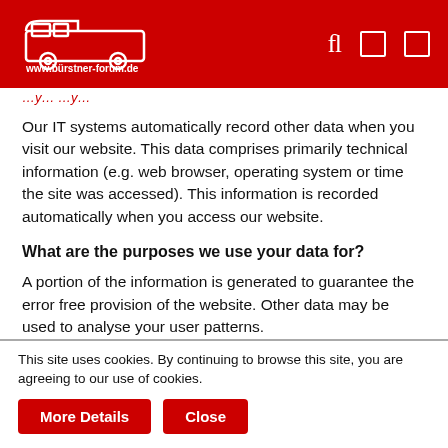www.bürstner-forum.de
Our IT systems automatically record other data when you visit our website. This data comprises primarily technical information (e.g. web browser, operating system or time the site was accessed). This information is recorded automatically when you access our website.
What are the purposes we use your data for?
A portion of the information is generated to guarantee the error free provision of the website. Other data may be used to analyse your user patterns.
What rights do you have as far as your information is concerned?
This site uses cookies. By continuing to browse this site, you are agreeing to our use of cookies.